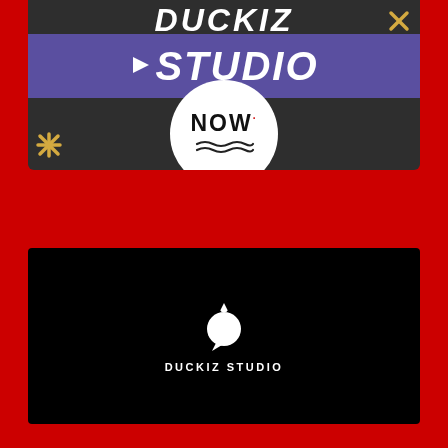[Figure (logo): Top banner on dark background with purple bar showing 'STUDIO' in white italic bold text with play arrow, a white circle with 'NOW' text and wave decoration, yellow X marks on corners, and dark red background.]
[Figure (logo): Black rectangle with white Duckiz Studio duck logo icon (duck silhouette with crown) and text 'DUCKIZ STUDIO' below it in white uppercase letters.]